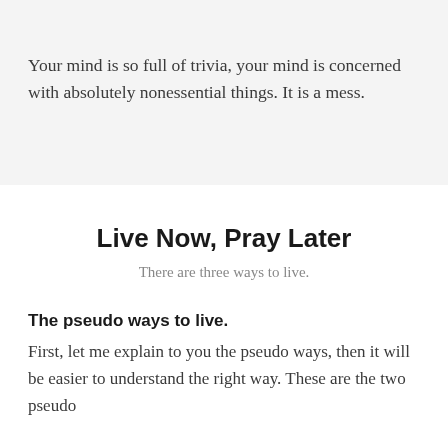Your mind is so full of trivia, your mind is concerned with absolutely nonessential things. It is a mess.
Live Now, Pray Later
There are three ways to live.
The pseudo ways to live.
First, let me explain to you the pseudo ways, then it will be easier to understand the right way. These are the two pseudo